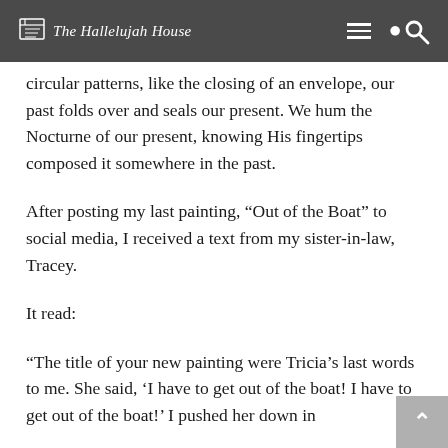The Hallelujah House
circular patterns, like the closing of an envelope, our past folds over and seals our present. We hum the Nocturne of our present, knowing His fingertips composed it somewhere in the past.
After posting my last painting, “Out of the Boat” to social media, I received a text from my sister-in-law, Tracey.
It read:
“The title of your new painting were Tricia’s last words to me. She said, ‘I have to get out of the boat! I have to get out of the boat!’ I pushed her down in